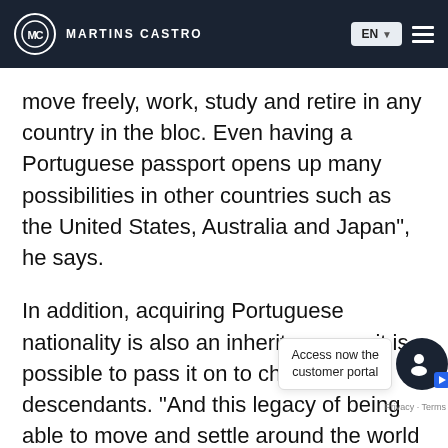MARTINS CASTRO | EN
move freely, work, study and retire in any country in the bloc. Even having a Portuguese passport opens up many possibilities in other countries such as the United States, Australia and Japan”, he says.
In addition, acquiring Portuguese nationality is also an inheritance, as it is possible to pass it on to children and descendants. “And this legacy of being able to move and settle around the world with ease”, says Huver, “is priceless”. “Having Portuguese
Access now the customer portal